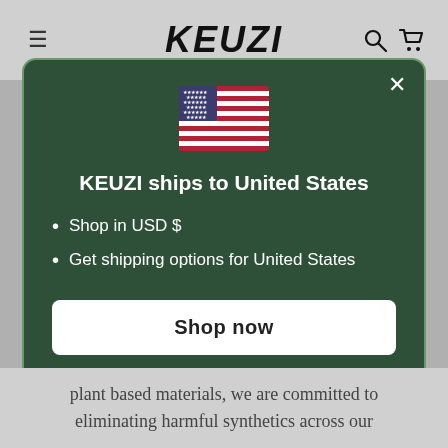KEUZI
[Figure (illustration): US flag emoji/icon centered in the modal dialog]
KEUZI ships to United States
Shop in USD $
Get shipping options for United States
Shop now
Change shipping country
plant based materials, we are committed to eliminating harmful synthetics across our